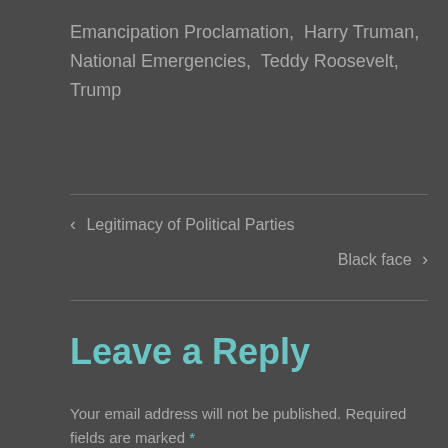Emancipation Proclamation,  Harry Truman,  National Emergencies,  Teddy Roosevelt,  Trump
‹ Legitimacy of Political Parties
Black face ›
Leave a Reply
Your email address will not be published. Required fields are marked *